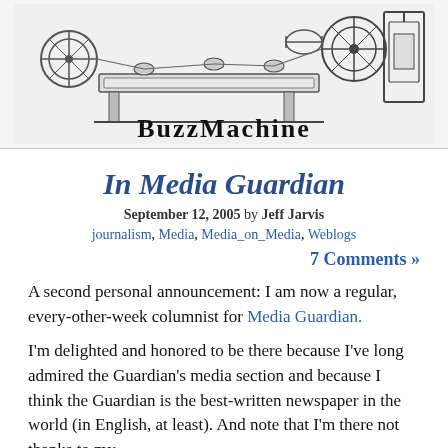[Figure (logo): BuzzMachine blog header with vintage printing machinery illustration and 'BuzzMachine' text in decorative font]
In Media Guardian
September 12, 2005 by Jeff Jarvis
journalism, Media, Media_on_Media, Weblogs
7 Comments »
A second personal announcement: I am now a regular, every-other-week columnist for Media Guardian.
I'm delighted and honored to be there because I've long admired the Guardian's media section and because I think the Guardian is the best-written newspaper in the world (in English, at least). And note that I'm there not thanks to my